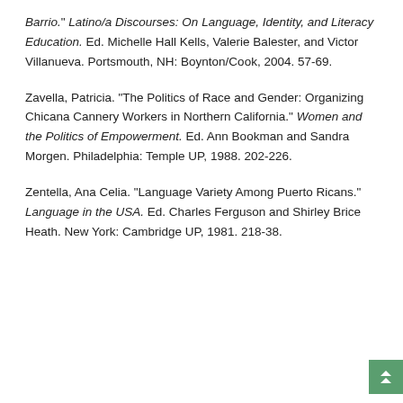Barrio." Latino/a Discourses:  On Language, Identity, and Literacy Education.  Ed. Michelle Hall Kells, Valerie Balester, and Victor Villanueva.  Portsmouth, NH:  Boynton/Cook, 2004.  57-69.
Zavella, Patricia.  "The Politics of Race and Gender: Organizing Chicana Cannery Workers in Northern California."  Women and the Politics of Empowerment.  Ed. Ann Bookman and Sandra Morgen.  Philadelphia:  Temple UP, 1988.  202-226.
Zentella, Ana Celia.  "Language Variety Among Puerto Ricans."  Language in the USA.  Ed. Charles Ferguson and Shirley Brice Heath.  New York:  Cambridge UP, 1981.  218-38.